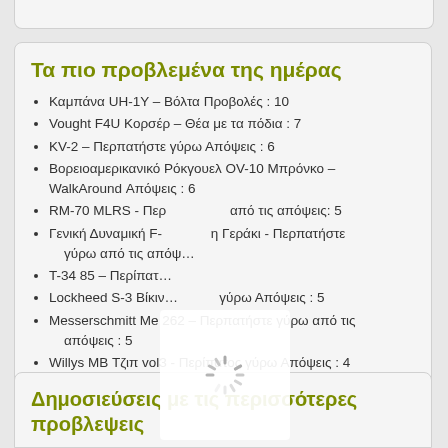Τα πιο προβλεμένα της ημέρας
Καμπάνα UH-1Y – Βόλτα Προβολές : 10
Vought F4U Κορσέρ – Θέα με τα πόδια : 7
KV-2 – Περπατήστε γύρω Απόψεις : 6
Βορειοαμερικανικό Ρόκγουελ OV-10 Μπρόνκο – WalkAround Απόψεις : 6
RM-70 MLRS - Περ… από τις απόψεις: 5
Γενική Δυναμική F-… η Γεράκι - Περπατήστε γύρω από τις απόψ…
T-34 85 – Περίπατ…
Lockheed S-3 Βίκιν… γύρω Απόψεις : 5
Messerschmitt Me 262 – Περπατήστε γύρω από τις απόψεις : 5
Willys MB Τζιπ vol3 - Περίπατος γύρω Απόψεις : 4
Δημοσιεύσεις με τις περισσότερες προβλεψεις